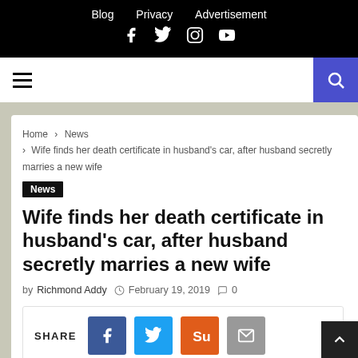Blog  Privacy  Advertisement
Wife finds her death certificate in husband's car, after husband secretly marries a new wife
Home > News > Wife finds her death certificate in husband's car, after husband secretly marries a new wife
News
Wife finds her death certificate in husband's car, after husband secretly marries a new wife
by Richmond Addy  February 19, 2019  0
SHARE